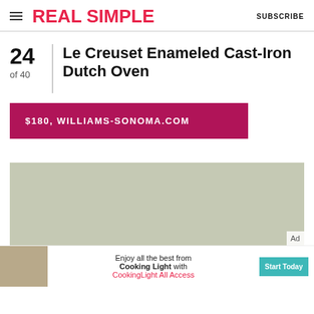REAL SIMPLE | SUBSCRIBE
24
of 40
Le Creuset Enameled Cast-Iron Dutch Oven
$180, WILLIAMS-SONOMA.COM
[Figure (photo): Product image area showing a light gray/sage colored background, partially visible, with 'Ad' label in bottom right corner]
[Figure (photo): Advertisement banner: food photo on left, text 'Enjoy all the best from Cooking Light with CookingLight All Access' in center, 'Start Today' button on right]